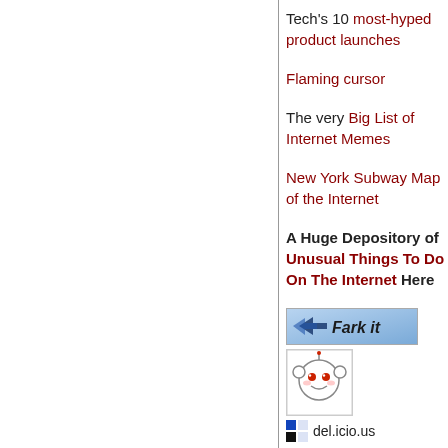Tech's 10 most-hyped product launches
Flaming cursor
The very Big List of Internet Memes
New York Subway Map of the Internet
A Huge Depository of Unusual Things To Do On The Internet Here
[Figure (logo): Fark it logo with arrow design]
[Figure (logo): Reddit alien mascot logo]
[Figure (logo): del.icio.us logo with blue/black squares]